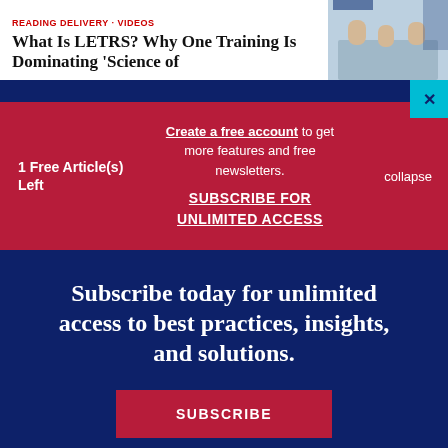[Figure (screenshot): Article preview strip showing headline 'What Is LETRS? Why One Training Is Dominating Science of' with a classroom photo on the right]
1 Free Article(s) Left
Create a free account to get more features and free newsletters.
SUBSCRIBE FOR UNLIMITED ACCESS
collapse
Subscribe today for unlimited access to best practices, insights, and solutions.
SUBSCRIBE